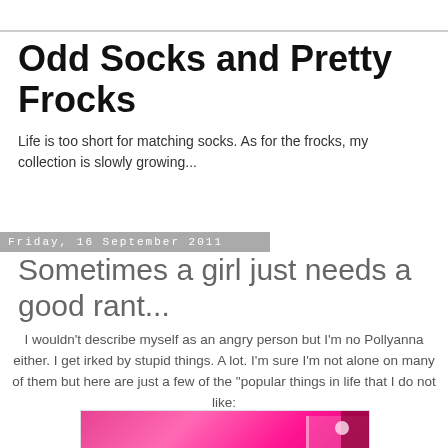Odd Socks and Pretty Frocks
Life is too short for matching socks. As for the frocks, my collection is slowly growing...
Friday, 16 September 2011
Sometimes a girl just needs a good rant...
I wouldn't describe myself as an angry person but I'm no Pollyanna either. I get irked by stupid things. A lot. I'm sure I'm not alone on many of them but here are just a few of the "popular things in life that I do not like:
[Figure (photo): A pink-themed room interior with bright pink walls, shelving, and dark accents on the right side]